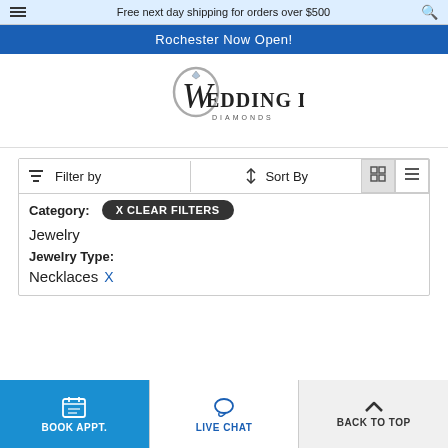Free next day shipping for orders over $500
Rochester Now Open!
[Figure (logo): Wedding Day Diamonds logo with stylized ring and script/serif typography]
Filter by
Sort By
Category:
X CLEAR FILTERS
Jewelry
Jewelry Type:
Necklaces X
BOOK APPT. | LIVE CHAT | BACK TO TOP